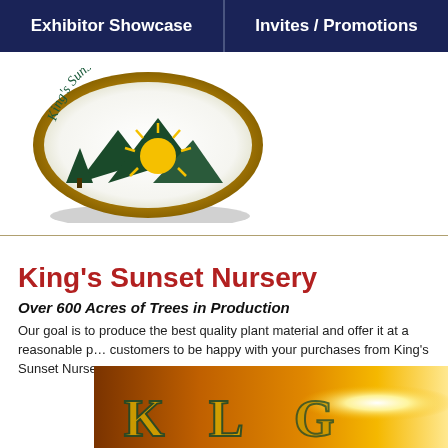Exhibitor Showcase | Invites / Promotions
[Figure (logo): King's Sunset Nursery, Inc. oval logo with gold border, mountains, tree, and sunset illustration]
King's Sunset Nursery
Over 600 Acres of Trees in Production
Our goal is to produce the best quality plant material and offer it at a reasonable price. We want our customers to be happy with your purchases from King's Sunset Nursery.
[Figure (photo): Bottom image showing a warm sunset-toned background with decorative elements]